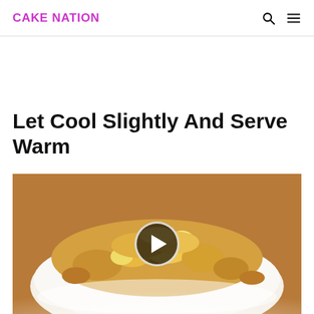CAKE NATION
Let Cool Slightly And Serve Warm
[Figure (photo): A plate of warm pineapple cake dump with a video play button overlay, showing golden crumbly topping with pineapple pieces on a white plate]